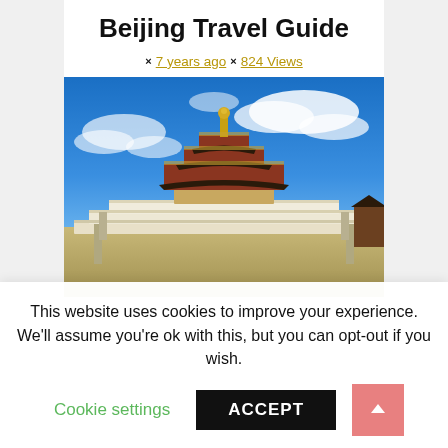Beijing Travel Guide
× 7 years ago × 824 Views
[Figure (photo): Temple of Heaven in Beijing against a vivid blue sky with white clouds. The multi-tiered circular structure with dark roof sits atop white marble terraces.]
This website uses cookies to improve your experience. We'll assume you're ok with this, but you can opt-out if you wish.
Cookie settings  ACCEPT